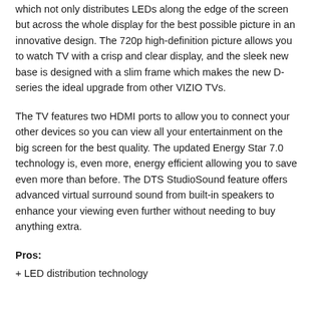which not only distributes LEDs along the edge of the screen but across the whole display for the best possible picture in an innovative design. The 720p high-definition picture allows you to watch TV with a crisp and clear display, and the sleek new base is designed with a slim frame which makes the new D-series the ideal upgrade from other VIZIO TVs.
The TV features two HDMI ports to allow you to connect your other devices so you can view all your entertainment on the big screen for the best quality. The updated Energy Star 7.0 technology is, even more, energy efficient allowing you to save even more than before. The DTS StudioSound feature offers advanced virtual surround sound from built-in speakers to enhance your viewing even further without needing to buy anything extra.
Pros:
+ LED distribution technology